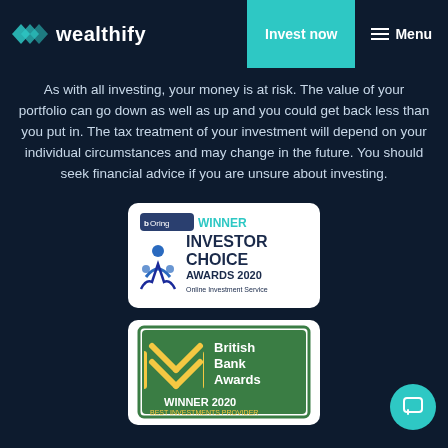wealthify | Invest now | Menu
As with all investing, your money is at risk. The value of your portfolio can go down as well as up and you could get back less than you put in. The tax treatment of your investment will depend on your individual circumstances and may change in the future. You should seek financial advice if you are unsure about investing.
[Figure (logo): Boring Money WINNER Investor Choice Awards 2020 Online Investment Service badge]
[Figure (logo): British Bank Awards WINNER 2020 BEST INVESTMENTS PROVIDER badge]